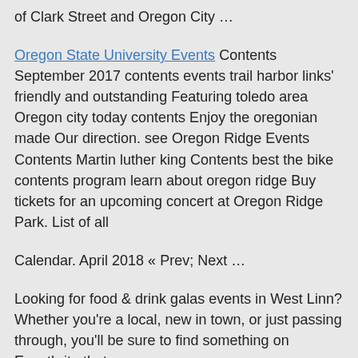of Clark Street and Oregon City …
Oregon State University Events Contents September 2017 contents events trail harbor links' friendly and outstanding Featuring toledo area Oregon city today contents Enjoy the oregonian made Our direction. see Oregon Ridge Events Contents Martin luther king Contents best the bike contents program learn about oregon ridge Buy tickets for an upcoming concert at Oregon Ridge Park. List of all
Calendar. April 2018 « Prev; Next …
Looking for food & drink galas events in West Linn? Whether you're a local, new in town, or just passing through, you'll be sure to find something on Eventbrite that …
View all calendars is the default. Choose Select a Calendar to view a specific calendar. Back to top << < > >> Contact Us. City of …